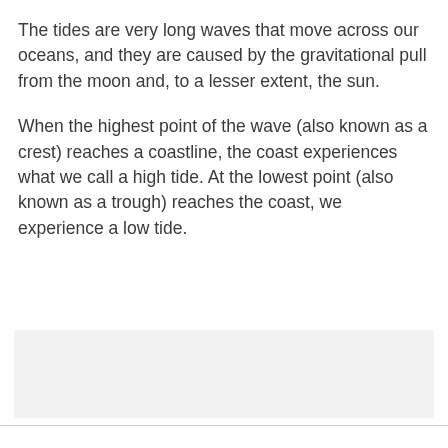The tides are very long waves that move across our oceans, and they are caused by the gravitational pull from the moon and, to a lesser extent, the sun.
When the highest point of the wave (also known as a crest) reaches a coastline, the coast experiences what we call a high tide. At the lowest point (also known as a trough) reaches the coast, we experience a low tide.